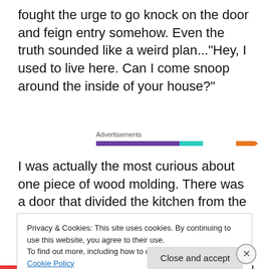fought the urge to go knock on the door and feign entry somehow. Even the truth sounded like a weird plan..."Hey, I used to live here. Can I come snoop around the inside of your house?"
[Figure (infographic): Advertisements label with colored horizontal bar strips in purple, teal, and orange]
I was actually the most curious about one piece of wood molding. There was a door that divided the kitchen from the hall of the house, and the side molding of that door
Privacy & Cookies: This site uses cookies. By continuing to use this website, you agree to their use.
To find out more, including how to control cookies, see here: Cookie Policy
Close and accept